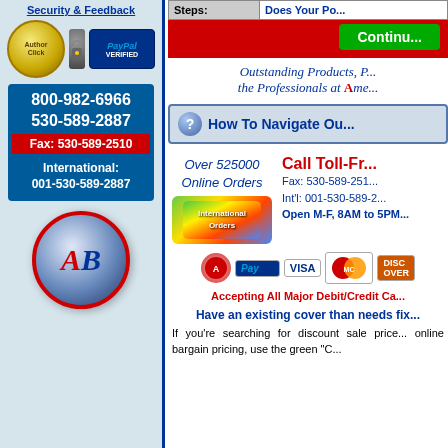Security & Feedback
[Figure (logo): Author Click and PayPal Verified security badges]
800-982-6966
530-589-2887
Fax: 530-589-2510
International:
001-530-589-2887
[Figure (logo): AB logo circle with red A and blue B]
| Steps: | Does Your Po... |
| --- | --- |
Continue
Outstanding Products, P... the Professionals at Ame...
How To Navigate Ou...
Over 525000
Online Orders
Call Toll-Fr...
[Figure (logo): International Orders colorful button]
Fax: 530-589-251...
Int'l: 001-530-589-2...
Open M-F, 8AM to 5PM
[Figure (logo): Payment logos: Authorize.net, PayPal, Visa, MasterCard, Discover]
Accepting All Major Debit/Credit Ca...
Have an existing cover than needs fix...
If you're searching for discount sale price... online bargain pricing, use the green "C...